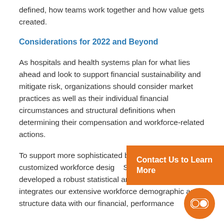defined, how teams work together and how value gets created.
Considerations for 2022 and Beyond
As hospitals and health systems plan for what lies ahead and look to support financial sustainability and mitigate risk, organizations should consider market practices as well as their individual financial circumstances and structural definitions when determining their compensation and workforce-related actions.
To support more sophisticated b... and customized workforce desig... SullivanCotter has developed a robust statistical analysis which integrates our extensive workforce demographic and structure data with our financial, performance